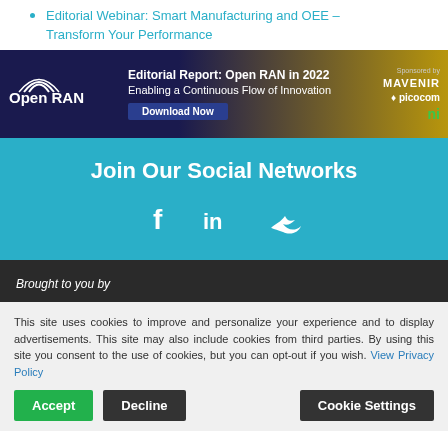Editorial Webinar: Smart Manufacturing and OEE – Transform Your Performance
[Figure (infographic): Open RAN editorial report banner advertisement for 2022, with logos for Mavenir, picocom, and NI. Dark blue to gold gradient background. Text: Editorial Report: Open RAN in 2022, Enabling a Continuous Flow of Innovation, Download Now button.]
Join Our Social Networks
[Figure (infographic): Social media icons: Facebook (f), LinkedIn (in), Twitter bird icon, displayed in white on cyan background]
Brought to you by
This site uses cookies to improve and personalize your experience and to display advertisements. This site may also include cookies from third parties. By using this site you consent to the use of cookies, but you can opt-out if you wish. View Privacy Policy
Accept | Decline | Cookie Settings